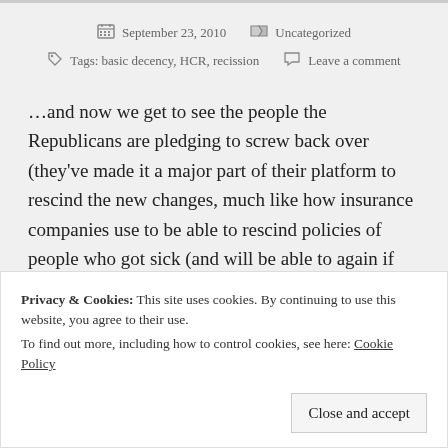September 23, 2010   Uncategorized
Tags: basic decency, HCR, recission   Leave a comment
…and now we get to see the people the Republicans are pledging to screw back over (they've made it a major part of their platform to rescind the new changes, much like how insurance companies use to be able to rescind policies of people who got sick (and will be able to again if the R's succeed)).
Privacy & Cookies: This site uses cookies. By continuing to use this website, you agree to their use.
To find out more, including how to control cookies, see here: Cookie Policy
Close and accept